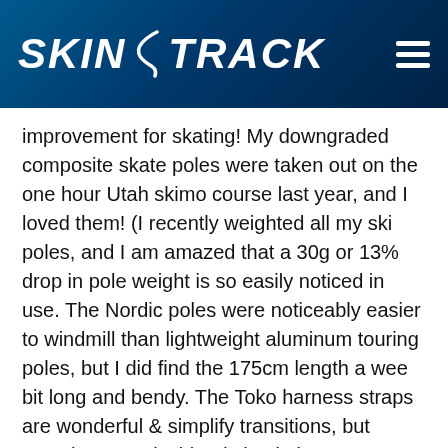SKINTRACK
improvement for skating! My downgraded composite skate poles were taken out on the one hour Utah skimo course last year, and I loved them! (I recently weighted all my ski poles, and I am amazed that a 30g or 13% drop in pole weight is so easily noticed in use. The Nordic poles were noticeably easier to windmill than lightweight aluminum touring poles, but I did find the 175cm length a wee bit long and bendy. The Toko harness straps are wonderful & simplify transitions, but somehow restrict blood circulation to my fingers during steeper climbs. For the tame skimo descending, I just choked up on the poles, and kept them at my sides. I am pondering cutting the composite nordic poles